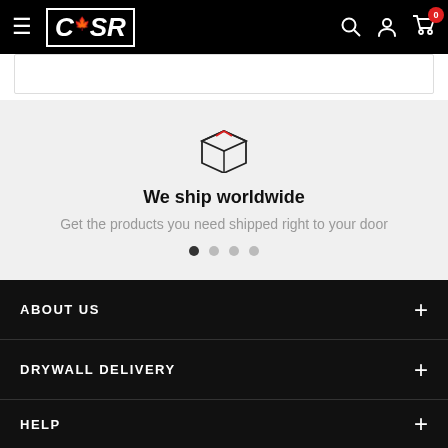CSR - Navigation header with logo, search, account, and cart icons
[Figure (screenshot): White product card/banner area partially visible]
[Figure (illustration): Package/box icon with red tape marks]
We ship worldwide
Get the products you need shipped right to your door
ABOUT US +
DRYWALL DELIVERY +
HELP +